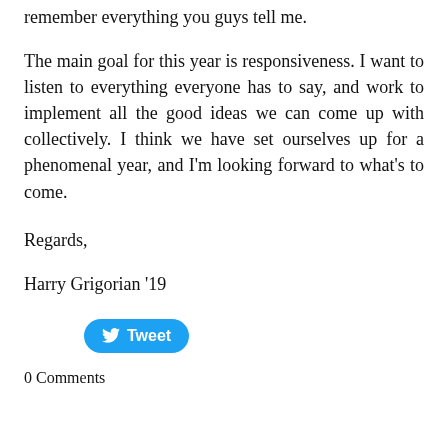remember everything you guys tell me.
The main goal for this year is responsiveness. I want to listen to everything everyone has to say, and work to implement all the good ideas we can come up with collectively. I think we have set ourselves up for a phenomenal year, and I’m looking forward to what’s to come.
Regards,
Harry Grigorian ’19
[Figure (other): Twitter Tweet button]
0 Comments